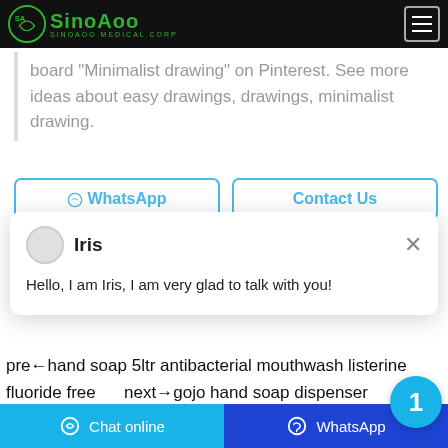SinoAoo Medical Corp
board "Minimalist drawing" on Pinterest. See more ideas about easy drawings, drawings, minimalist drawing.
[Figure (screenshot): Two outline buttons: WhatsApp and Contact Us]
[Figure (screenshot): Chat popup with avatar circle, name Iris, close X button, and message: Hello, I am Iris, I am very glad to talk with you!]
pre←hand soap 5ltr antibacterial mouthwash listerine fluoride free     next→gojo hand soap dispenser troubleshooting iphone 7plus giá rẻ
[Figure (screenshot): Bottom action bar with Chat online and WhatsApp buttons]